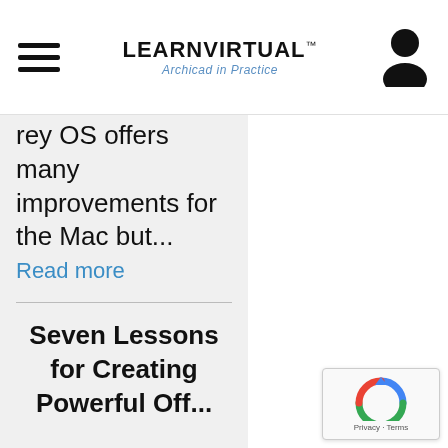LEARNVIRTUAL™ Archicad in Practice
rey OS offers many improvements for the Mac but...
Read more
Seven Lessons for Creating Powerful Offi...